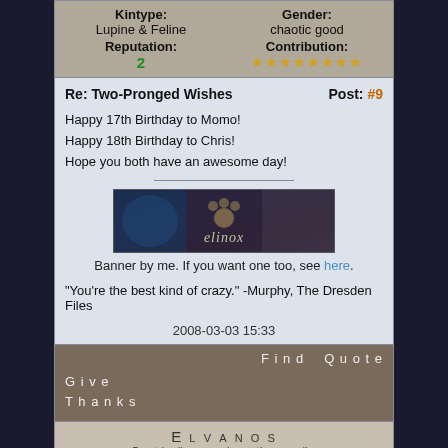| Kintype | Gender | Reputation | Contribution |
| --- | --- | --- | --- |
| Lupine & Feline | chaotic good | 2 | ★★★★★★★★ |
Re: Two-Pronged Wishes | Post: #9
Happy 17th Birthday to Momo!
Happy 18th Birthday to Chris!
Hope you both have an awesome day!
[Figure (illustration): Banner image with wolf/feline themed graphics and 'elinox' text]
Banner by me. If you want one too, see here.
"You're the best kind of crazy." -Murphy, The Dresden Files
2008-03-03 15:33
Find   Quote   Give Thanks
Elvanos
Deatdealing, reaping... the usuall...